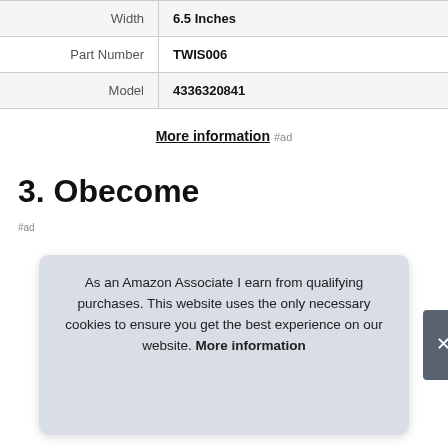|  |  |
| --- | --- |
| Width | 6.5 Inches |
| Part Number | TWIS006 |
| Model | 4336320841 |
More information #ad
3. Obecome
#ad
As an Amazon Associate I earn from qualifying purchases. This website uses the only necessary cookies to ensure you get the best experience on our website. More information
[Figure (photo): Partial product image at bottom of page]